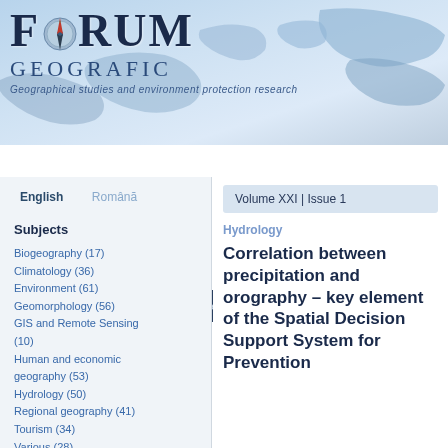[Figure (screenshot): Forum Geografic website header with world map background, logo with compass, and navigation bar]
FORUM GEOGRAFIC
Geographical studies and environment protection research
Current Issue | Archive | Events | Contact | About
English   Română
Subjects
Biogeography (17)
Climatology (36)
Environment (61)
Geomorphology (56)
GIS and Remote Sensing (10)
Human and economic geography (53)
Hydrology (50)
Regional geography (41)
Tourism (34)
Various (28)
Volume XXI |  Issue 1
Hydrology
Correlation between precipitation and orography – key element of the Spatial Decision Support System for Prevention